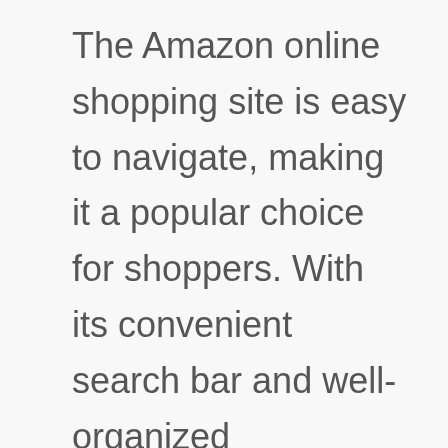The Amazon online shopping site is easy to navigate, making it a popular choice for shoppers. With its convenient search bar and well-organized categories, finding the perfect bassinet for small space is a breeze. You can search for items by brand, price or user rating. You can also search for specific features.
Plus, Amazon offers free shipping on...